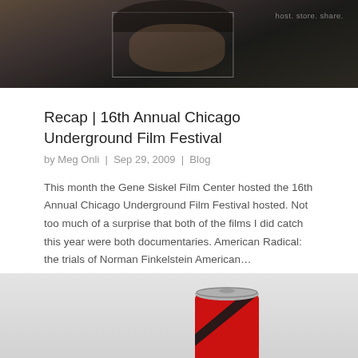[Figure (photo): Dark photo of a man's face against a dark background with bookshelves. A faint rectangular overlay (face detection box) is visible. Watermark text 'host. store. share.' appears in the top right corner.]
Recap | 16th Annual Chicago Underground Film Festival
by Meg Onli | Sep 29, 2009 | Blog
This month the Gene Siskel Film Center hosted the 16th Annual Chicago Underground Film Festival hosted. Not too much of a surprise that both of the films I did catch this year were both documentaries. American Radical: the trials of Norman Finkelstein American…
[Figure (photo): A red and black beverage can viewed from slightly above, showing the top of the can and the red body with a black diagonal design element. The background is light gray.]